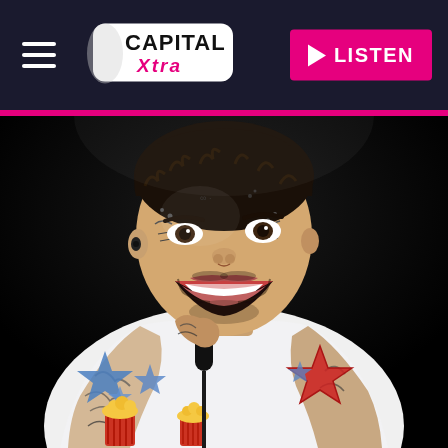[Figure (logo): Capital Xtra radio station logo — white rounded rectangle with 'CAPITAL' in bold black text and 'Xtra' in pink/magenta text below, on a dark navy background]
[Figure (other): Listen button — pink/magenta rectangle with white play triangle icon and 'LISTEN' text in white bold capitals]
[Figure (photo): Photo of a smiling man (Post Malone) with face tattoos, holding a microphone, wearing a white shirt with colourful star and cartoon graphics, performing on stage against a dark background]